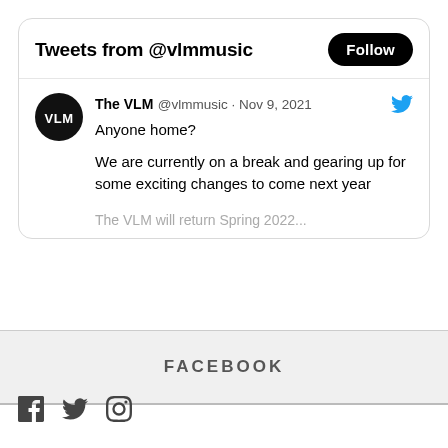Tweets from @vlmmusic
The VLM @vlmmusic · Nov 9, 2021
Anyone home?

We are currently on a break and gearing up for some exciting changes to come next year
FACEBOOK
[Figure (other): Social media icons: Facebook, Twitter, Instagram]